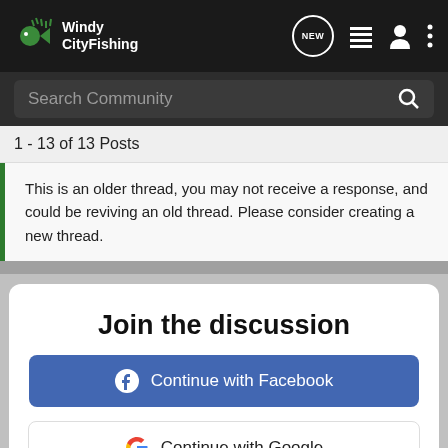WindyCityFishing
Search Community
1 - 13 of 13 Posts
This is an older thread, you may not receive a response, and could be reviving an old thread. Please consider creating a new thread.
Join the discussion
Continue with Facebook
Continue with Google
or sign up with email